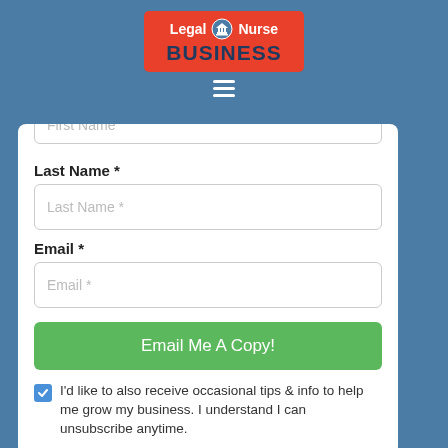[Figure (logo): Legal Nurse Business logo on red background with courthouse icon]
First Name
Last Name *
Last Name *
Email *
Email *
Email Me A Copy!
I'd like to also receive occasional tips & info to help me grow my business. I understand I can unsubscribe anytime.